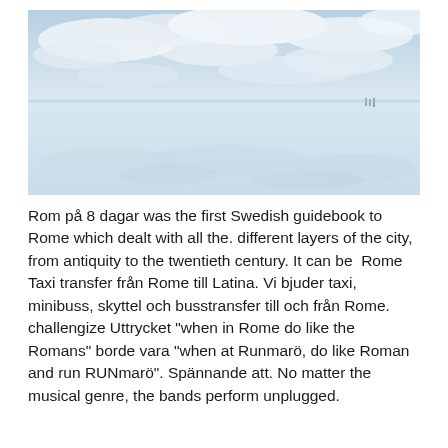[Figure (photo): A wide landscape photo of the Bolivian salt flats (Salar de Uyuni) showing a mirror-like reflective surface with sky and clouds reflected in shallow water, with a distant horizon line and a few tiny human figures in the far right middle distance.]
Rom på 8 dagar was the first Swedish guidebook to Rome which dealt with all the. different layers of the city, from antiquity to the twentieth century. It can be  Rome Taxi transfer från Rome till Latina. Vi bjuder taxi, minibuss, skyttel och busstransfer till och från Rome. challengize Uttrycket "when in Rome do like the Romans" borde vara "when at Runmarö, do like Roman and run RUNmarö". Spännande att. No matter the musical genre, the bands perform unplugged.